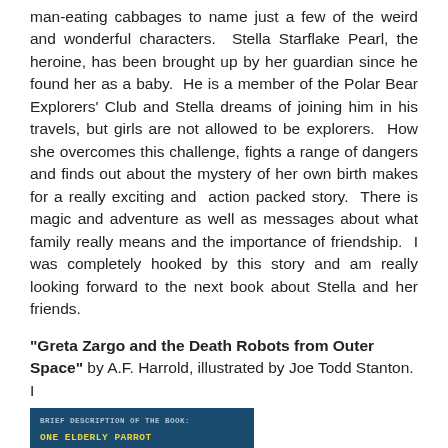man-eating cabbages to name just a few of the weird and wonderful characters.  Stella Starflake Pearl, the heroine, has been brought up by her guardian since he found her as a baby.  He is a member of the Polar Bear Explorers' Club and Stella dreams of joining him in his travels, but girls are not allowed to be explorers.  How she overcomes this challenge, fights a range of dangers and finds out about the mystery of her own birth makes for a really exciting and  action packed story.  There is magic and adventure as well as messages about what family really means and the importance of friendship.  I was completely hooked by this story and am really looking forward to the next book about Stella and her friends.
"Greta Zargo and the Death Robots from Outer Space" by A.F. Harrold, illustrated by Joe Todd Stanton.  I
[Figure (photo): Book cover of 'Greta Zargo and the Death Robots from Outer Space' showing dark blue background with yellow text listing: one elderly parrot, one eleven-year-old spelling mistake, one intrepid young newspaper reporter-come-schoolgirl]